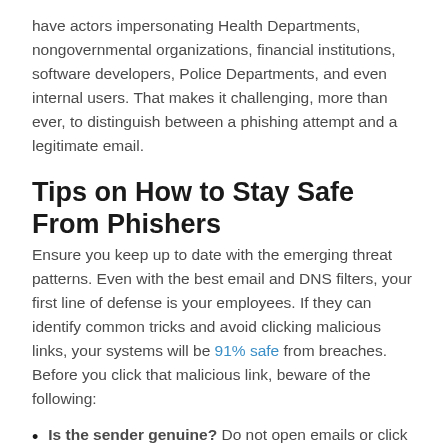have actors impersonating Health Departments, nongovernmental organizations, financial institutions, software developers, Police Departments, and even internal users. That makes it challenging, more than ever, to distinguish between a phishing attempt and a legitimate email.
Tips on How to Stay Safe From Phishers
Ensure you keep up to date with the emerging threat patterns. Even with the best email and DNS filters, your first line of defense is your employees. If they can identify common tricks and avoid clicking malicious links, your systems will be 91% safe from breaches. Before you click that malicious link, beware of the following:
Is the sender genuine? Do not open emails or click links from unknown sources. If you aren't sure about the sender's legitimacy, hover the cursor over the link to see their details. Look out for slight variations in numbers, names, or symbols.